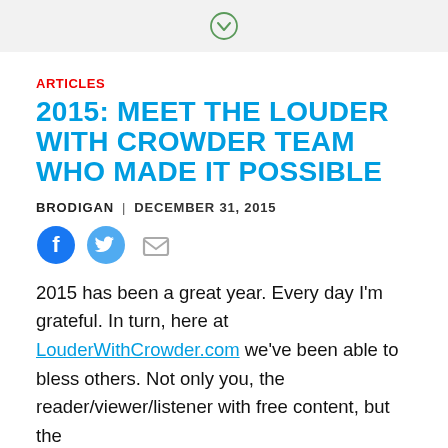ARTICLES
2015: MEET THE LOUDER WITH CROWDER TEAM WHO MADE IT POSSIBLE
BRODIGAN | DECEMBER 31, 2015
[Figure (infographic): Social share icons: Facebook (blue circle with f), Twitter (light blue circle with bird), Email (grey envelope icon)]
2015 has been a great year. Every day I'm grateful. In turn, here at LouderWithCrowder.com we've been able to bless others. Not only you, the reader/viewer/listener with free content, but the